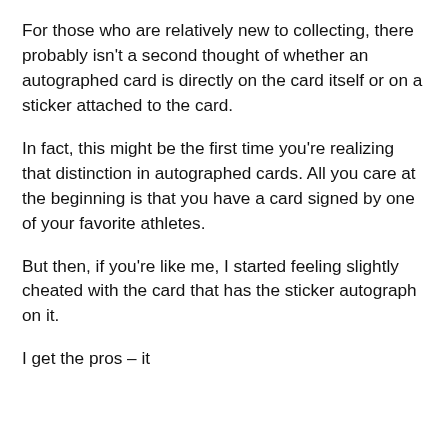For those who are relatively new to collecting, there probably isn't a second thought of whether an autographed card is directly on the card itself or on a sticker attached to the card.
In fact, this might be the first time you're realizing that distinction in autographed cards. All you care at the beginning is that you have a card signed by one of your favorite athletes.
But then, if you're like me, I started feeling slightly cheated with the card that has the sticker autograph on it.
I get the pros – it